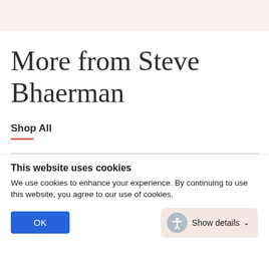More from Steve Bhaerman
Shop All
This website uses cookies
We use cookies to enhance your experience. By continuing to use this website, you agree to our use of cookies.
OK
Show details